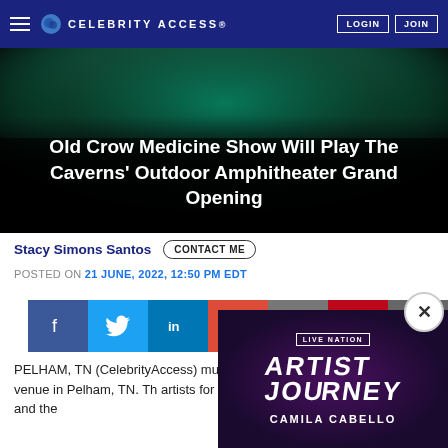CELEBRITY ACCESS LOGIN JOIN
[Figure (photo): Concert stage photo with teal/green lighting, crowd visible. Hero image with overlay title text.]
Old Crow Medicine Show Will Play The Caverns' Outdoor Amphitheater Grand Opening
Stacy Simons Santos
CONTACT ME
POSTED ON 21 JUNE, 2022, 12:50 PM EDT
[Figure (infographic): Social share bar with icons for Facebook, Twitter, LinkedIn, Google+, Email, Pinterest, and Print]
PELHAM, TN (CelebrityAccess) music venue in Pelham, TN. Th artists for you and the...
[Figure (advertisement): Live Nation Artist Journey ad featuring Camila Cabello, with close button (X)]